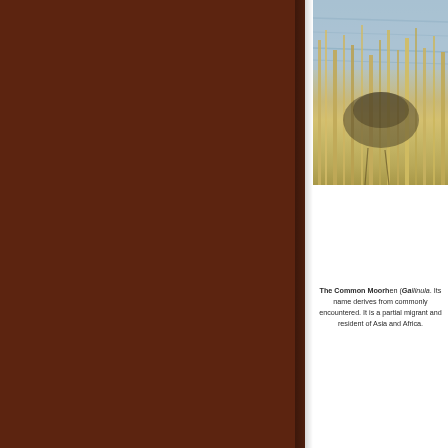[Figure (photo): Partial view of a Common Moorhen bird among reeds/grass with water visible, photo cropped on the right side of the page]
The Common Moorh... Gallinula. Its name de... commonly encountere... a partial migrant and ... of Asia and Africa...